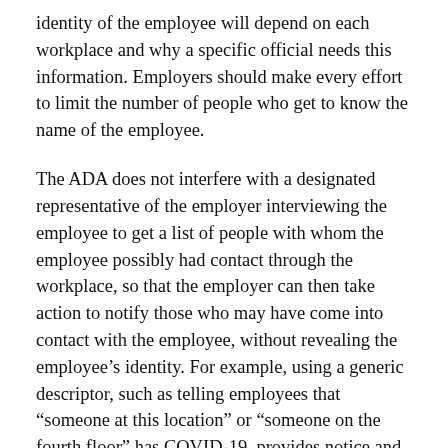identity of the employee will depend on each workplace and why a specific official needs this information. Employers should make every effort to limit the number of people who get to know the name of the employee.
The ADA does not interfere with a designated representative of the employer interviewing the employee to get a list of people with whom the employee possibly had contact through the workplace, so that the employer can then take action to notify those who may have come into contact with the employee, without revealing the employee’s identity. For example, using a generic descriptor, such as telling employees that “someone at this location” or “someone on the fourth floor” has COVID-19, provides notice and does not violate the ADA’s prohibition of disclosure of confidential medical information. For small employers, coworkers might be able to figure out who the employee is, but